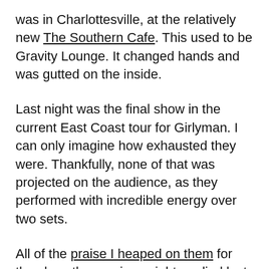was in Charlottesville, at the relatively new The Southern Cafe. This used to be Gravity Lounge. It changed hands and was gutted on the inside.
Last night was the final show in the current East Coast tour for Girlyman. I can only imagine how exhausted they were. Thankfully, none of that was projected on the audience, as they performed with incredible energy over two sets.
All of the praise I heaped on them for the show the previous night applied last night. They varied the set list a lot, with at least half of the songs swapped from the night before. Their banter was almost 100% fresh. One of the reasons that this is almost always true for Girlyman is that they feed